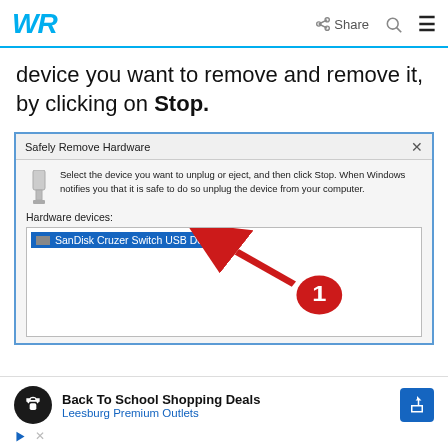WR | Share | Search | Menu
device you want to remove and remove it, by clicking on Stop.
[Figure (screenshot): Windows 'Safely Remove Hardware' dialog box showing Hardware devices list with 'SanDisk Cruzer Switch USB Device' selected (highlighted in blue), with a red arrow annotation pointing to the device item and a red circle labeled '1'.]
[Figure (screenshot): Advertisement banner: Back To School Shopping Deals - Leesburg Premium Outlets, with a dark circle logo, blue arrow button, play icon and X icon.]